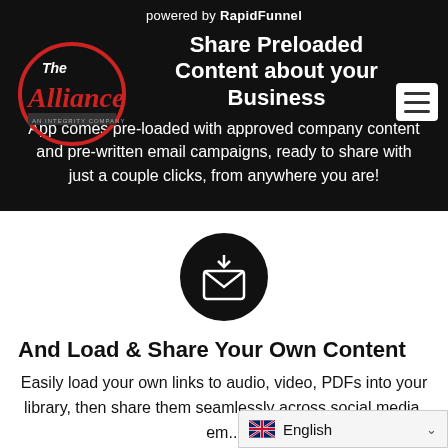powered by RapidFunnel
Share Preloaded Content about your Business
[Figure (logo): The Alliance - An Integrity Company logo in red and white on dark background]
App comes pre-loaded with approved company content and pre-written email campaigns, ready to share with just a couple clicks, from anywhere you are!
[Figure (illustration): Email/download icon: white envelope with download arrow inside, on black circle background]
And Load & Share Your Own Content
Easily load your own links to audio, video, PDFs into your library, then share them seamlessly across social media, em...